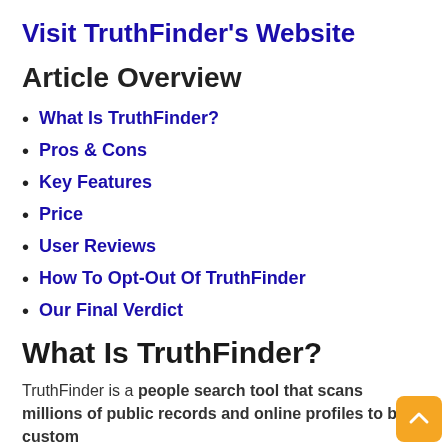Visit TruthFinder's Website
Article Overview
What Is TruthFinder?
Pros & Cons
Key Features
Price
User Reviews
How To Opt-Out Of TruthFinder
Our Final Verdict
What Is TruthFinder?
TruthFinder is a people search tool that scans millions of public records and online profiles to build custom